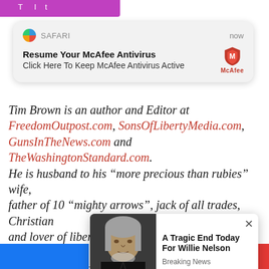[Figure (screenshot): Safari browser push notification for McAfee Antivirus: 'Resume Your McAfee Antivirus / Click Here To Keep McAfee Antivirus Active']
Tim Brown is an author and Editor at FreedomOutpost.com, SonsOfLibertyMedia.com, GunsInTheNews.com and TheWashingtonStandard.com. He is husband to his “more precious than rubies” wife, father of 10 “mighty arrows”, jack of all trades, Christian and lover of liberty. He resides in the U.S. occupied Great State of South Carolina. Tim is also an affiliate for the Joshua Mark 5 AR/AK hybrid semi-automatic rifle. Follow
[Figure (screenshot): Pop-up ad showing a photo of Willie Nelson with headline 'A Tragic End Today For Willie Nelson' and subtext 'Breaking News']